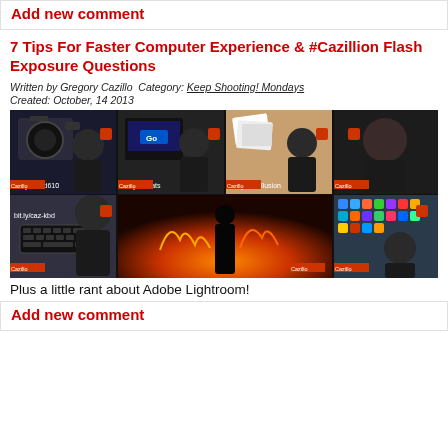Add new comment
7 Tips For Faster Computer Experience & #Cazillion Flash Exposure Questions
Written by Gregory Cazillo  Category: Keep Shooting! Mondays
Created: October, 14 2013
[Figure (photo): A 4x2 grid collage of video thumbnails featuring a man in a black shirt, camera gear, keyboard, app icons, a fire scene, and various computer/photography topics. URLs shown: bit.ly/caz-d610, bit.ly/delcats, bit.ly/caz-illusion, bit.ly/caz-kbd]
Plus a little rant about Adobe Lightroom!
Add new comment